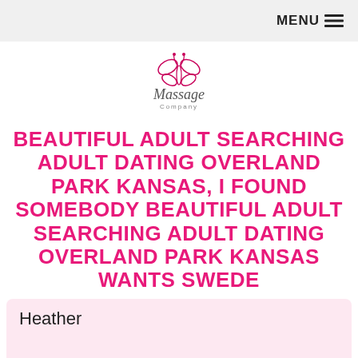MENU ≡
[Figure (logo): Massage Company logo with stylized butterfly/flower icon above the text 'Massage Company']
BEAUTIFUL ADULT SEARCHING ADULT DATING OVERLAND PARK KANSAS, I FOUND SOMEBODY BEAUTIFUL ADULT SEARCHING ADULT DATING OVERLAND PARK KANSAS WANTS SWEDE
Heather
Write a message